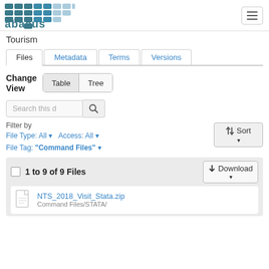abacus [logo] [hamburger menu]
Tourism
Files | Metadata | Terms | Versions
Change View  Table  Tree
Search this d [search button]
Filter by
File Type: All ▾   Access: All ▾
File Tag: "Command Files" ▾   [Sort button]
1 to 9 of 9 Files  [Download button]
NTS_2018_Visit_Stata.zip
Command Files/STATA/